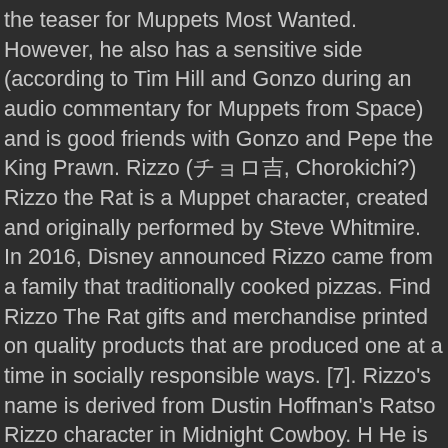the teaser for Muppets Most Wanted. However, he also has a sensitive side (according to Tim Hill and Gonzo during an audio commentary for Muppets from Space) and is good friends with Gonzo and Pepe the King Prawn. Rizzo (チョロ吉, Chorokichi?) Rizzo the Rat is a Muppet character, created and originally performed by Steve Whitmire. In 2016, Disney announced Rizzo came from a family that traditionally cooked pizzas. Find Rizzo The Rat gifts and merchandise printed on quality products that are produced one at a time in socially responsible ways. [7]. Rizzo's name is derived from Dustin Hoffman's Ratso Rizzo character in Midnight Cowboy. H He is a fictional rat who appeared on The Muppet Show and numerous films, with a ... [5]. Rizzo's family has been mentioned in Muppet media. In an interview, Nick Stoller explained that they tried to include as many characters as possible, but couldn't find a spot for him (or Bean Bunny) in the movie. The different voices of Rizzo the Rat across the globe . Rizzo has appeared in every game except Wild World. Rizzo also tried to impersonate Mickey Mouse